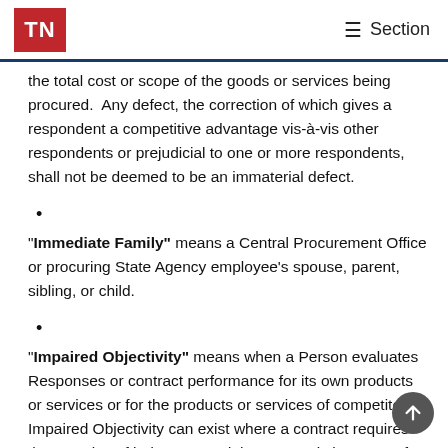TN  ☰ Section
the total cost or scope of the goods or services being procured.  Any defect, the correction of which gives a respondent a competitive advantage vis-à-vis other respondents or prejudicial to one or more respondents, shall not be deemed to be an immaterial defect.
•
"Immediate Family" means a Central Procurement Office or procuring State Agency employee's spouse, parent, sibling, or child.
•
"Impaired Objectivity" means when a Person evaluates Responses or contract performance for its own products or services or for the products or services of competitors.  Impaired Objectivity can exist where a contract requires the exercise of judgment, and the economic interests of the Person will be harmed through the free and unbiased exercise